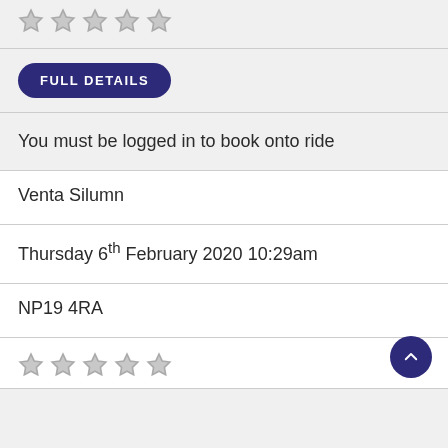[Figure (other): Five empty star rating icons (top)]
FULL DETAILS
You must be logged in to book onto ride
Venta Silumn
Thursday 6th February 2020 10:29am
NP19 4RA
[Figure (other): Five empty star rating icons (bottom) with scroll-to-top button]